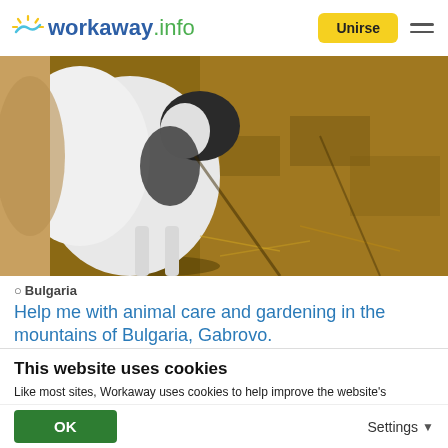workaway.info — Unirse
[Figure (photo): Close-up photo of a white and black goat standing in a farm/barn setting with straw and stone floor visible]
Bulgaria
Help me with animal care and gardening in the mountains of Bulgaria, Gabrovo.
This website uses cookies
Like most sites, Workaway uses cookies to help improve the website's usability. Cookies providing anonymous info help us to analyse site use as well as improve content and present social media features.  You consent to our cookies if you continue to use our website.
OK    Settings